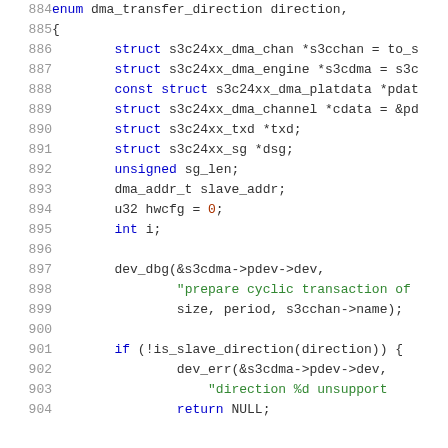Source code listing lines 884-904, showing C code for a DMA cyclic transaction preparation function including variable declarations and initial conditionals.